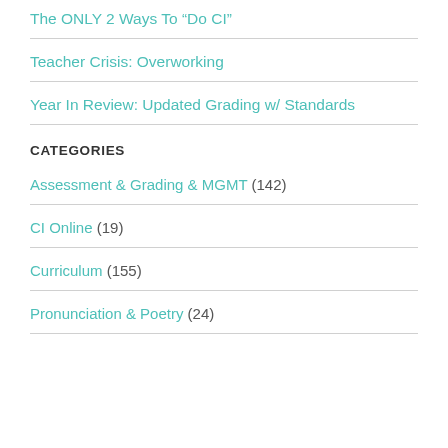The ONLY 2 Ways To “Do CI”
Teacher Crisis: Overworking
Year In Review: Updated Grading w/ Standards
CATEGORIES
Assessment & Grading & MGMT (142)
CI Online (19)
Curriculum (155)
Pronunciation & Poetry (24)